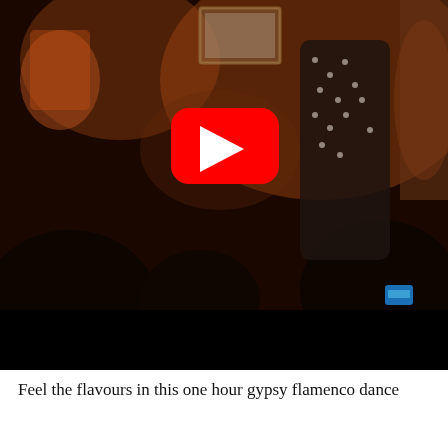[Figure (screenshot): YouTube video thumbnail showing an indoor flamenco dance scene with people in a dimly lit room. A woman in a black polka dot dress is visible. A red YouTube play button overlay is centered on the image. A black band appears at the bottom of the video frame.]
Feel the flavours in this one hour gypsy flamenco dance